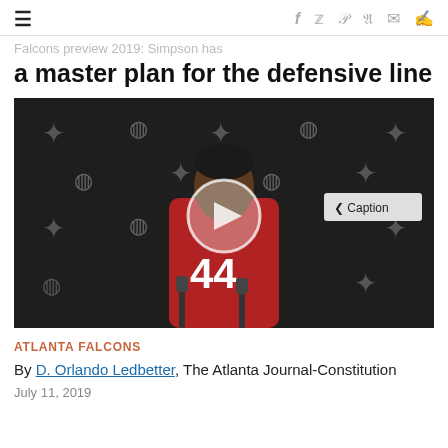≡  f  𝓽  𝓅  𝓻  ✉  💬
Falcons preview 2019: Simpson has a master plan for the defensive line
[Figure (photo): Video thumbnail showing an Atlanta Falcons player wearing jersey number 44 in red, standing at a press conference podium in front of a Falcons/Mercedes-Benz branded backdrop. A play button overlay is visible, along with a 'Caption' button in the upper right of the video frame.]
ATLANTA FALCONS
By D. Orlando Ledbetter, The Atlanta Journal-Constitution
July 11, 2019